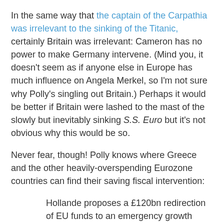In the same way that the captain of the Carpathia was irrelevant to the sinking of the Titanic, certainly Britain was irrelevant: Cameron has no power to make Germany intervene. (Mind you, it doesn't seem as if anyone else in Europe has much influence on Angela Merkel, so I'm not sure why Polly's singling out Britain.) Perhaps it would be better if Britain were lashed to the mast of the slowly but inevitably sinking S.S. Euro but it's not obvious why this would be so.
Never fear, though! Polly knows where Greece and the other heavily-overspending Eurozone countries can find their saving fiscal intervention:
Hollande proposes a £120bn redirection of EU funds to an emergency growth programme: he should throw in the CAP, too.
Because all that money is just floating around, and redirecting it to various parts of the European economies would in no way affect other parts of those economies that would otherwise have been the beneficiaries...